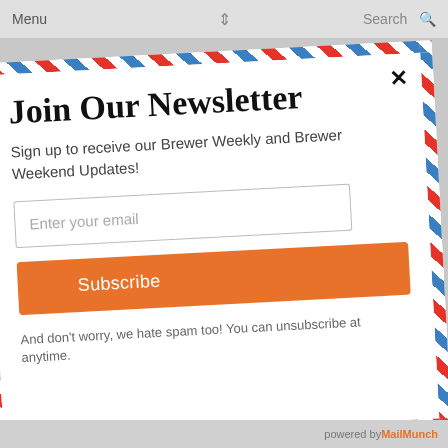Menu   Search
Join Our Newsletter
Sign up to receive our Brewer Weekly and Brewer Weekend Updates!
Enter your email
Subscribe
And don't worry, we hate spam too! You can unsubscribe at anytime.
powered by MailMunch